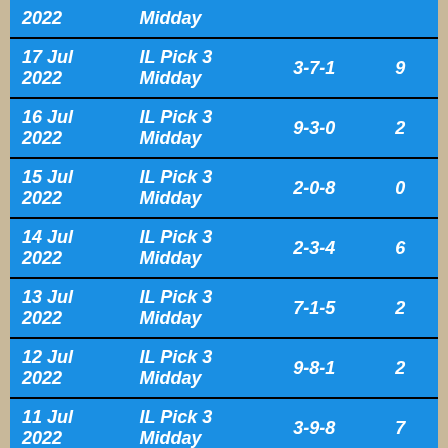| Date | Game | Numbers | Sum |
| --- | --- | --- | --- |
| 2022 | Midday |  |  |
| 17 Jul 2022 | IL Pick 3 Midday | 3-7-1 | 9 |
| 16 Jul 2022 | IL Pick 3 Midday | 9-3-0 | 2 |
| 15 Jul 2022 | IL Pick 3 Midday | 2-0-8 | 0 |
| 14 Jul 2022 | IL Pick 3 Midday | 2-3-4 | 6 |
| 13 Jul 2022 | IL Pick 3 Midday | 7-1-5 | 2 |
| 12 Jul 2022 | IL Pick 3 Midday | 9-8-1 | 2 |
| 11 Jul 2022 | IL Pick 3 Midday | 3-9-8 | 7 |